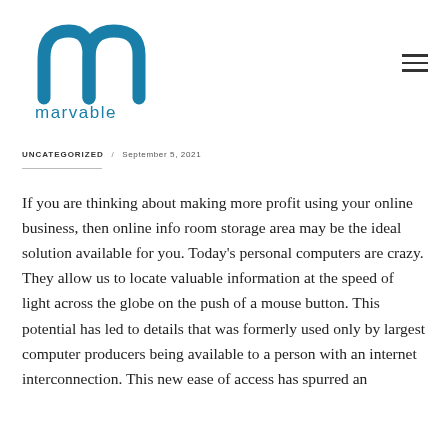[Figure (logo): Marvable logo — stylized 'm' letterform in teal/blue with 'marvable' wordmark below]
UNCATEGORIZED / September 5, 2021
If you are thinking about making more profit using your online business, then online info room storage area may be the ideal solution available for you. Today's personal computers are crazy. They allow us to locate valuable information at the speed of light across the globe on the push of a mouse button. This potential has led to details that was formerly used only by largest computer producers being available to a person with an internet interconnection. This new ease of access has spurred an